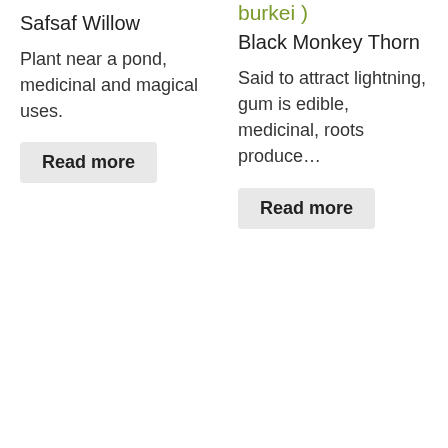burkei )
Safsaf Willow
Black Monkey Thorn
Plant near a pond, medicinal and magical uses.
Said to attract lightning, gum is edible, medicinal, roots produce…
Read more
Read more